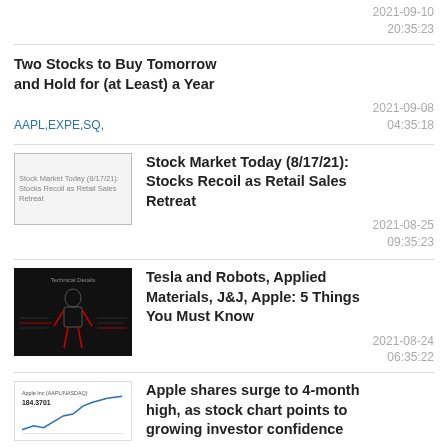2021-09-10
20:35:23
Two Stocks to Buy Tomorrow and Hold for (at Least) a Year
AAPL,EXPE,SQ,
2021-09-08
04:35:18
[Figure (illustration): Placeholder thumbnail for Stock Market Today article]
Stock Market Today (8/17/21): Stocks Recoil as Retail Sales Retreat
2021-08-25
09:35:23
[Figure (photo): Dark background image showing a robot humanoid figure with red highlights, labeled Technical Details — Tesla robot presentation]
Tesla and Robots, Applied Materials, J&J, Apple: 5 Things You Must Know
2021-08-24
06:35:22
[Figure (screenshot): Stock chart screenshot showing Apple Inc (AAPL/NASDAQ) at 164.3701]
Apple shares surge to 4-month high, as stock chart points to growing investor confidence